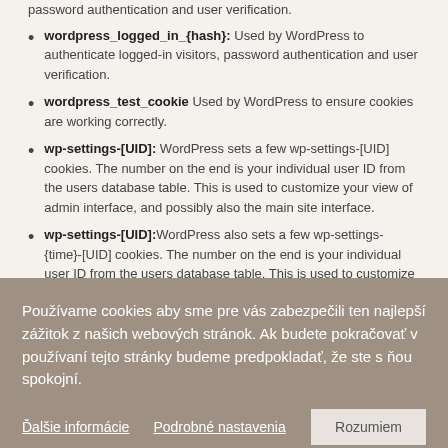password authentication and user verification.
wordpress_logged_in_{hash}: Used by WordPress to authenticate logged-in visitors, password authentication and user verification.
wordpress_test_cookie Used by WordPress to ensure cookies are working correctly.
wp-settings-[UID]: WordPress sets a few wp-settings-[UID] cookies. The number on the end is your individual user ID from the users database table. This is used to customize your view of admin interface, and possibly also the main site interface.
wp-settings-[UID]:WordPress also sets a few wp-settings-{time}-[UID] cookies. The number on the end is your individual user ID from the users database table. This is used to customize your view of admin interface, and possibly also the main site interface.
Používame cookies aby sme pre vás zabezpečili ten najlepší zážitok z našich webových stránok. Ak budete pokračovať v používaní tejto stránky budeme predpokladať, že ste s ňou spokojní.
Ďalšie informácie | Podrobné nastavenia | Rozumiem